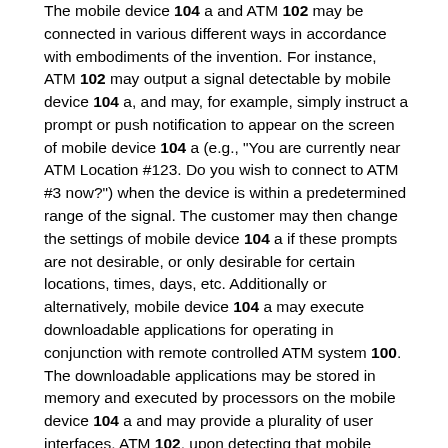The mobile device 104 a and ATM 102 may be connected in various different ways in accordance with embodiments of the invention. For instance, ATM 102 may output a signal detectable by mobile device 104 a, and may, for example, simply instruct a prompt or push notification to appear on the screen of mobile device 104 a (e.g., "You are currently near ATM Location #123. Do you wish to connect to ATM #3 now?") when the device is within a predetermined range of the signal. The customer may then change the settings of mobile device 104 a if these prompts are not desirable, or only desirable for certain locations, times, days, etc. Additionally or alternatively, mobile device 104 a may execute downloadable applications for operating in conjunction with remote controlled ATM system 100. The downloadable applications may be stored in memory and executed by processors on the mobile device 104 a and may provide a plurality of user interfaces. ATM 102, upon detecting that mobile device 104 a is within a specified physical range, may then instruct the user to customer to, for instance, launch a specific application on mobile device 104 a. ATM 102 may also be capable of detecting when a particular mobile application is being opened by mobile device 104 a, and the mobile application may then